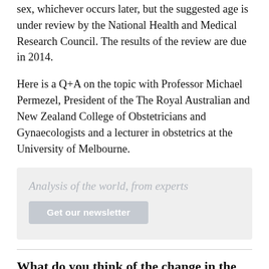sex, whichever occurs later, but the suggested age is under review by the National Health and Medical Research Council. The results of the review are due in 2014.
Here is a Q+A on the topic with Professor Michael Permezel, President of the The Royal Australian and New Zealand College of Obstetricians and Gynaecologists and a lecturer in obstetrics at the University of Melbourne.
[Figure (other): Newsletter signup box with tagline 'Analysis of the world, from experts' and a 'Get our newsletter' button]
What do you think of the change in the UK?
I think this is something that I would consider...